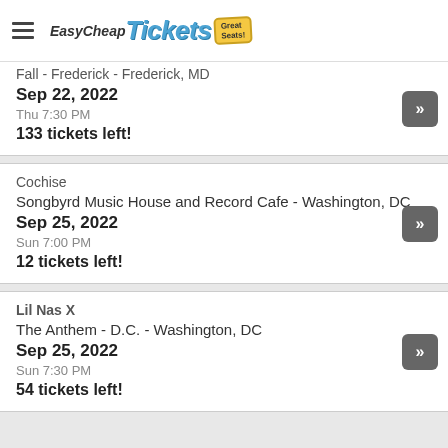EasyCheapTickets - Great Seats!
Fall - Frederick - Frederick, MD
Sep 22, 2022
Thu 7:30 PM
133 tickets left!
Cochise
Songbyrd Music House and Record Cafe - Washington, DC
Sep 25, 2022
Sun 7:00 PM
12 tickets left!
Lil Nas X
The Anthem - D.C. - Washington, DC
Sep 25, 2022
Sun 7:30 PM
54 tickets left!